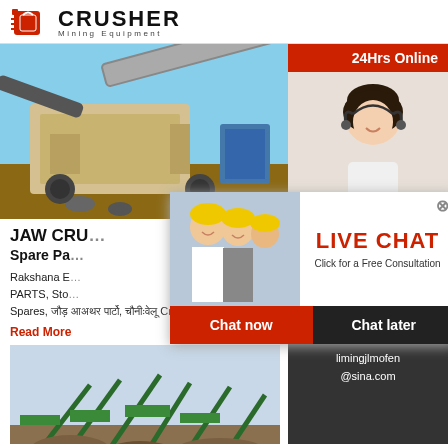[Figure (logo): Crusher Mining Equipment logo with red shopping bag icon and bold black CRUSHER text]
[Figure (photo): Jaw crusher machine operating at a mining site with excavator arm visible]
JAW CRU...
Spare Pa...
Rakshana E... PARTS, Sto... Spares, [Hindi text], [Hindi text] Crusher...
Read More
[Figure (photo): Aerial view of a large crusher plant with green conveyor belts]
[Figure (photo): Live chat overlay popup with 24Hrs Online red header, workers in hard hats, LIVE CHAT red heading, Chat now and Chat later buttons]
[Figure (photo): Right sidebar with 24Hrs Online header, customer service representative with headset, Need questions & suggestion, Chat Now button, Enquiry section, limingjlmofen@sina.com email]